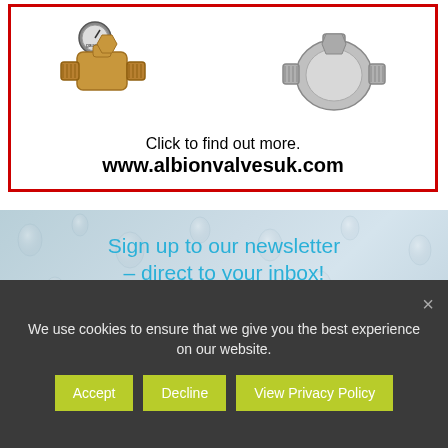[Figure (photo): Advertisement for Albion Valves UK with two valve product images (a brass valve with pressure gauge and a chrome valve), red border, text 'Click to find out more. www.albionvalvesuk.com']
[Figure (infographic): Newsletter sign-up banner with water drops background, handwritten-style blue text 'Sign up to our newsletter - direct to your inbox!' and a plumbing & heating magazine cover showing 'A REAL CONTENDER']
We use cookies to ensure that we give you the best experience on our website.
Accept
Decline
View Privacy Policy